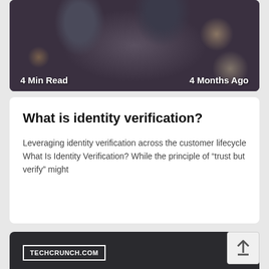[Figure (photo): Blurry bokeh photo of a man with beard, dark background with bokeh lights]
4 Min Read	4 Months Ago
What is identity verification?
Leveraging identity verification across the customer lifecycle What Is Identity Verification? While the principle of “trust but verify” might
[Figure (screenshot): Dark card with TECHCRUNCH.COM label in white bordered box, and partially visible stylized text at bottom]
TECHCRUNCH.COM